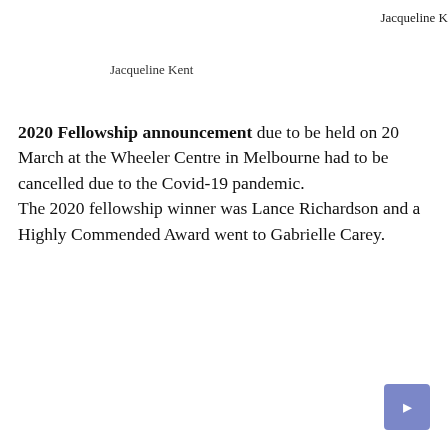Jacqueline K
Jacqueline Kent
2020 Fellowship announcement due to be held on 20 March at the Wheeler Centre in Melbourne had to be cancelled due to the Covid-19 pandemic. The 2020 fellowship winner was Lance Richardson and a Highly Commended Award went to Gabrielle Carey.